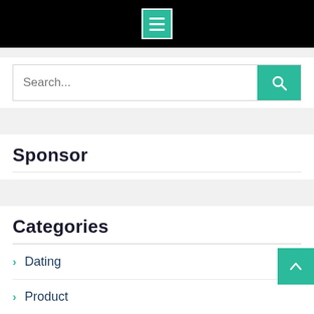[Figure (screenshot): Black top navigation bar with a teal/green hamburger menu icon (three horizontal white lines) centered on it]
[Figure (screenshot): Search bar with placeholder text 'Search...' and a teal search button with magnifying glass icon on the right]
Sponsor
Categories
Dating
Product